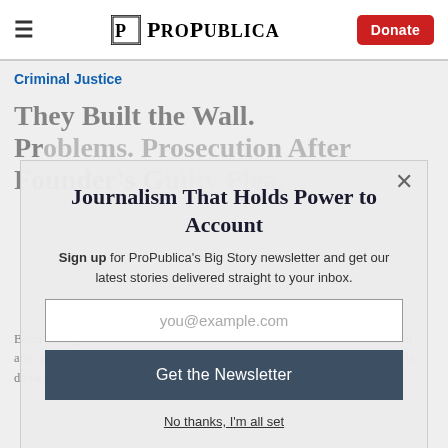ProPublica — Donate
Criminal Justice
They Built the Wall. Problems. Prosecution After Founder's Guilty Plea.
Brian Kolfage, 39, of Miramar Beach, Fla., faces more than five years in prison after pleading guilty to defrauding donors of hundreds of thousands of dollars in donations to the wall effort.
Journalism That Holds Power to Account
Sign up for ProPublica's Big Story newsletter and get our latest stories delivered straight to your inbox.
you@example.com
Get the Newsletter
No thanks, I'm all set
This site is protected by reCAPTCHA and the Google Privacy Policy and Terms of Service apply.